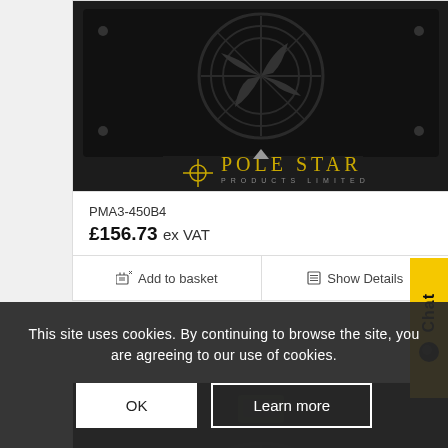[Figure (photo): Fan/radiator product mounted on black panel with Pole Star Products Limited logo visible]
PMA3-450B4
£156.73 ex VAT
Add to basket
Show Details
[Figure (photo): Second fan product partially visible, Pole Star branding visible]
This site uses cookies. By continuing to browse the site, you are agreeing to our use of cookies.
OK
Learn more